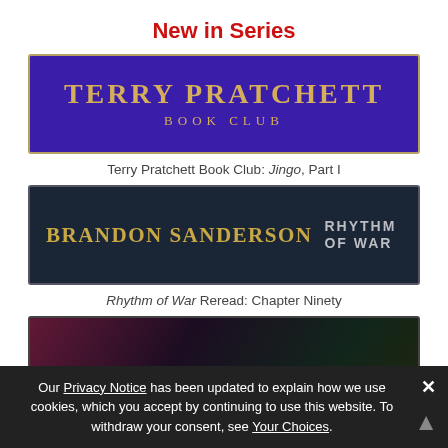New in Series
[Figure (illustration): Terry Pratchett Book Club banner: purple background with gold border, large gold text 'TERRY PRATCHETT' and 'BOOK CLUB']
Terry Pratchett Book Club: Jingo, Part I
[Figure (illustration): Brandon Sanderson Rhythm of War banner: dark navy background with gold text 'BRANDON SANDERSON' and grey text 'RHYTHM OF WAR']
Rhythm of War Reread: Chapter Ninety
[Figure (photo): Dark stylized banner image with purple and green tones]
Our Privacy Notice has been updated to explain how we use cookies, which you accept by continuing to use this website. To withdraw your consent, see Your Choices.